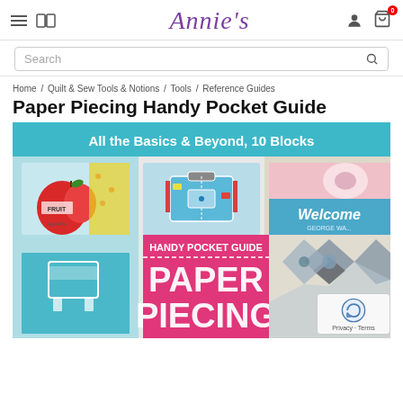Annie's — Navigation header with hamburger menu, book icon, Annie's logo, user icon, and cart icon with badge 0
Search
Home / Quilt & Sew Tools & Notions / Tools / Reference Guides
Paper Piecing Handy Pocket Guide
[Figure (photo): Book cover of 'Paper Piecing Handy Pocket Guide' by Annie's. Teal banner at top reads 'All the Basics & Beyond, 10 Blocks'. Cover shows quilt block images: apple, suitcase, welcome sign, chair. Pink center panel reads 'HANDY POCKET GUIDE' with large white text 'PAPER PIECING'.]
Privacy · Terms